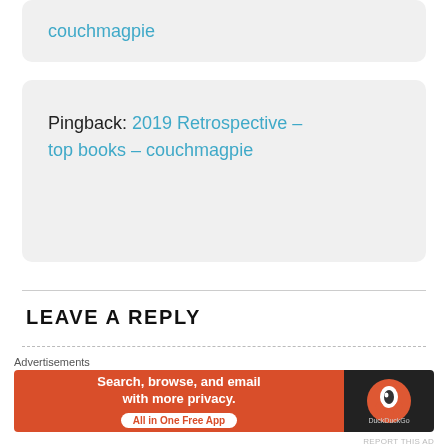couchmagpie
Pingback: 2019 Retrospective – top books – couchmagpie
LEAVE A REPLY
Your email address will not be published. Required fields are marked *
Comment *
[Figure (screenshot): DuckDuckGo advertisement banner: 'Search, browse, and email with more privacy. All in One Free App' with DuckDuckGo logo on dark background]